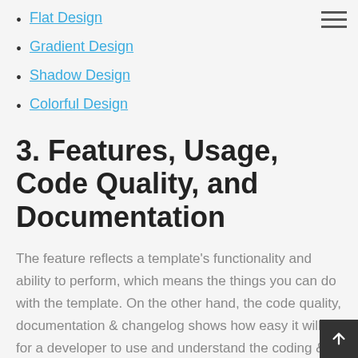Flat Design
Gradient Design
Shadow Design
Colorful Design
3. Features, Usage, Code Quality, and Documentation
The feature reflects a template’s functionality and ability to perform, which means the things you can do with the template. On the other hand, the code quality, documentation & changelog shows how easy it will be for a developer to use and understand the coding & files for implementation, along with the template’s